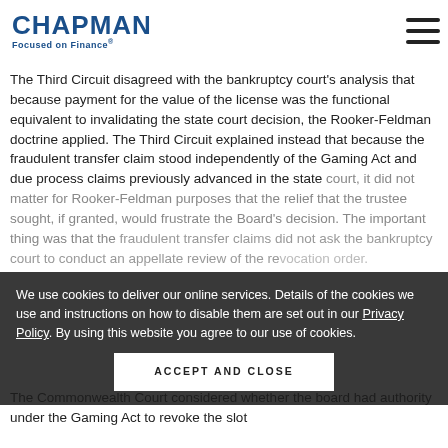CHAPMAN Focused on Finance®
independent claims, even if that claim denies a legal conclusion reached in state court.5
The Third Circuit disagreed with the bankruptcy court's analysis that because payment for the value of the license was the functional equivalent to invalidating the state court decision, the Rooker-Feldman doctrine applied. The Third Circuit explained instead that because the fraudulent transfer claim stood independently of the Gaming Act and due process claims previously advanced in the state court, it did not matter for Rooker-Feldman purposes that the relief that the trustee sought, if granted, would frustrate the Board's decision. The important thing was that the fraudulent transfer claims did not ask the bankruptcy court to conduct an appellate review of the revocation order.
We use cookies to deliver our online services. Details of the cookies we use and instructions on how to disable them are set out in our Privacy Policy. By using this website you agree to our use of cookies.
ACCEPT AND CLOSE
The Commonwealth Court considered whether the board had authority under the Gaming Act to revoke the slot